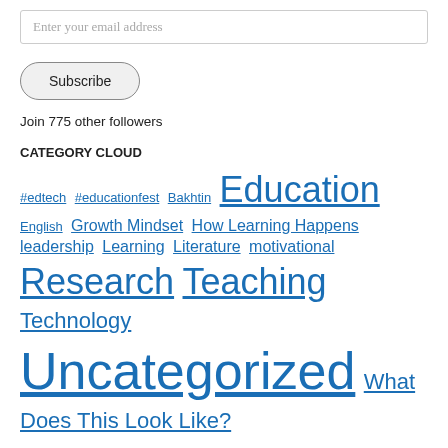Enter your email address
Subscribe
Join 775 other followers
CATEGORY CLOUD
#edtech #educationfest Bakhtin Education English Growth Mindset How Learning Happens leadership Learning Literature motivational Research Teaching Technology Uncategorized What Does This Look Like?
RSS FEED
Webinar : How Learning Happens
Just Because They're Engaged, Doesn't Mean They're